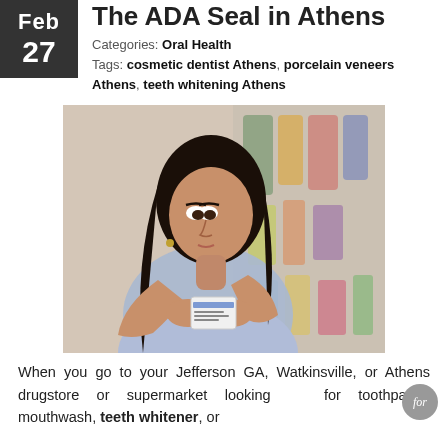The ADA Seal in Athens
Categories: Oral Health
Tags: cosmetic dentist Athens, porcelain veneers Athens, teeth whitening Athens
[Figure (photo): A woman in a store reading the label on a product, shelves of products visible in the background]
When you go to your Jefferson GA, Watkinsville, or Athens drugstore or supermarket looking for toothpaste, mouthwash, teeth whitener, or